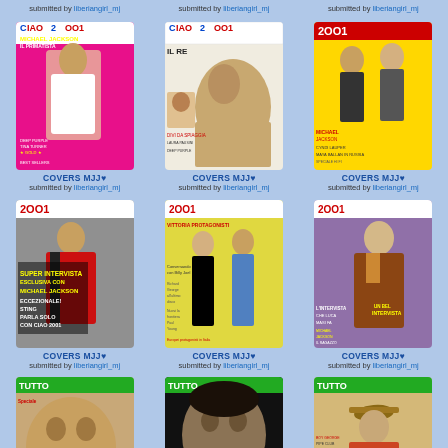submitted by liberiangirl_mj
submitted by liberiangirl_mj
submitted by liberiangirl_mj
[Figure (photo): Ciao 2001 magazine cover featuring Michael Jackson - Il Primatista, pink background]
[Figure (photo): Ciao 2001 magazine cover featuring Michael Jackson - Il Re, white/black tones]
[Figure (photo): 2001 magazine cover featuring Michael Jackson with others, yellow border]
COVERS MJJ♥
submitted by liberiangirl_mj
COVERS MJJ♥
submitted by liberiangirl_mj
COVERS MJJ♥
submitted by liberiangirl_mj
[Figure (photo): 2001 magazine cover - Super Intervista Esclusiva con Michael Jackson, grey background]
[Figure (photo): 2001 magazine cover - Conversando con Billy Joel, yellow/green background]
[Figure (photo): 2001 magazine cover featuring Michael Jackson in leather jacket, purple background]
COVERS MJJ♥
submitted by liberiangirl_mj
COVERS MJJ♥
submitted by liberiangirl_mj
COVERS MJJ♥
submitted by liberiangirl_mj
[Figure (photo): TUTTO magazine cover - Michael Jackson in Italia, brown/tan tones]
[Figure (photo): TUTTO magazine cover - Michael Jackson close-up, dark background]
[Figure (photo): TUTTO magazine cover - Michael Jackson in hat, tan/gold tones]